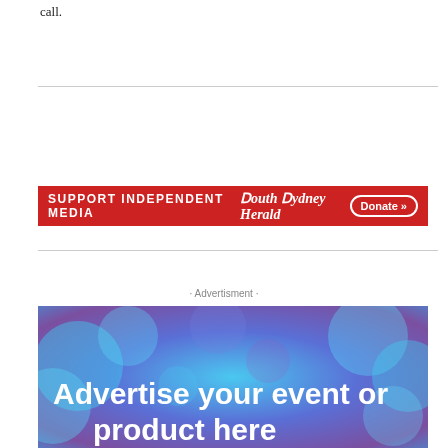call.
[Figure (infographic): Red banner: SUPPORT INDEPENDENT MEDIA | South Sydney Herald | Donate >>]
· Advertisment ·
[Figure (infographic): Advertisement banner with bokeh blue/purple background and white bold text: Advertise your event or product here]